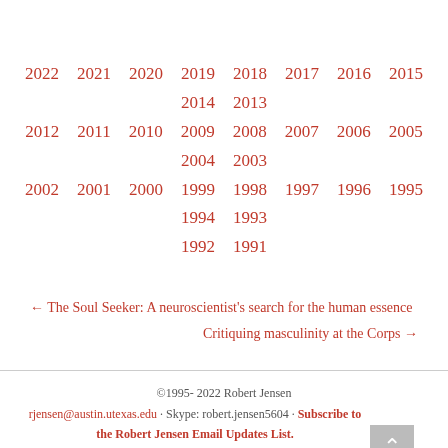2022 2021 2020 2019 2018 2017 2016 2015 2014 2013 2012 2011 2010 2009 2008 2007 2006 2005 2004 2003 2002 2001 2000 1999 1998 1997 1996 1995 1994 1993 1992 1991
← The Soul Seeker: A neuroscientist's search for the human essence
Critiquing masculinity at the Corps →
©1995- 2022 Robert Jensen · rjensen@austin.utexas.edu · Skype: robert.jensen5604 · Subscribe to the Robert Jensen Email Updates List. Original site design by Kritika Pramod Kulshrestha